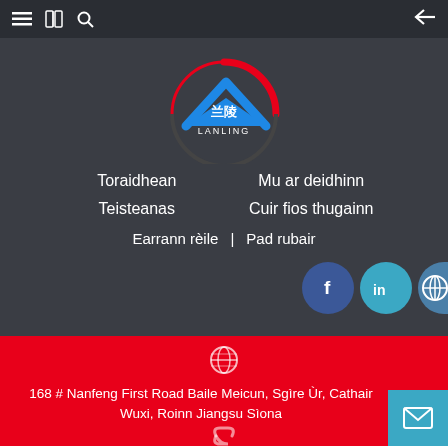Navigation bar with menu, book, search icons on left and back arrow on right
[Figure (logo): Lanling company logo — circular design with red arc, blue arrow/chevron, Chinese characters 兰陵 and text LANLING on grey background]
Toraidhean
Mu ar deidhinn
Teisteanas
Cuir fios thugainn
Earrann rèile  |  Pad rubair
[Figure (other): Social media icons: Facebook (dark blue circle with f), LinkedIn (teal circle with in), and a partially visible globe/wechat icon]
[Figure (other): Globe icon in white outline on red background]
168 # Nanfeng First Road Baile Meicun, Sgìre Ùr, Cathair Wuxi, Roinn Jiangsu Sìona
[Figure (other): Mail envelope icon in teal button at bottom right, partial link icon at bottom center]